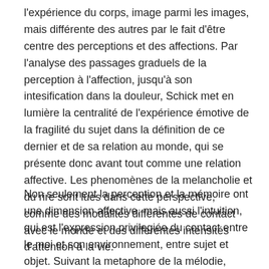l'expérience du corps, image parmi les images, mais différente des autres par le fait d'être centre des perceptions et des affections. Par l'analyse des passages graduels de la perception à l'affection, jusqu'à son intesification dans la douleur, Schick met en lumière la centralité de l'expérience émotive de la fragilité du sujet dans la définition de ce dernier et de sa relation au monde, qui se présente donc avant tout comme une relation affective. Les phenomènes de la melancholie et du rire sont lues dans cette perspective, comme des modalités différentes de contact avec le monde et des differentes intensités d'attention à la vie.
Non seulement la perception et la mémoire ont une dimension affective, mais aussi l'intuition, qui est l'expression privilegiée du contact entre le moi et son environnement, entre sujet et objet. Suivant la metaphore de la mélodie, l'intuition se charge de couleur émotive, traversée par des intervals et des tensions qui distinguent sa spatialité affective de l'étendu où se meut l'intelligence. Sur la base d'un tel lien